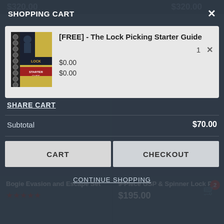SHOPPING CART
[Figure (screenshot): Shopping cart modal overlay on a dark e-commerce website background showing a cart item card, share cart link, subtotal, cart/checkout buttons, and continue shopping link. Background shows product images dimmed behind the overlay.]
[FREE] - The Lock Picking Starter Guide
$0.00
$0.00
SHARE CART
Subtotal
$70.00
CART
CHECKOUT
CONTINUE SHOPPING
Bogie Evasion and Escape Set
9-Piece GSP & Spinner Lock P
$195.00